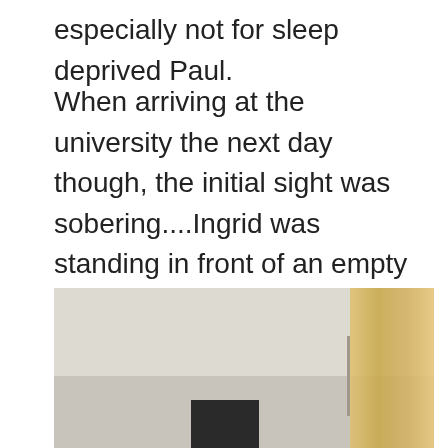especially not for sleep deprived Paul.
When arriving at the university the next day though, the initial sight was sobering....Ingrid was standing in front of an empty class room with a data projector that could not be linked up to her laptop.
[Figure (photo): Photo of an empty classroom or room interior, showing white/cream walls with crown molding, a curtain on the right side letting in warm light, and a dark monitor or equipment visible at the bottom center of the image.]